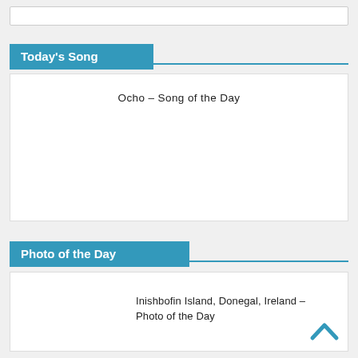Today's Song
Ocho – Song of the Day
Photo of the Day
Inishbofin Island, Donegal, Ireland – Photo of the Day